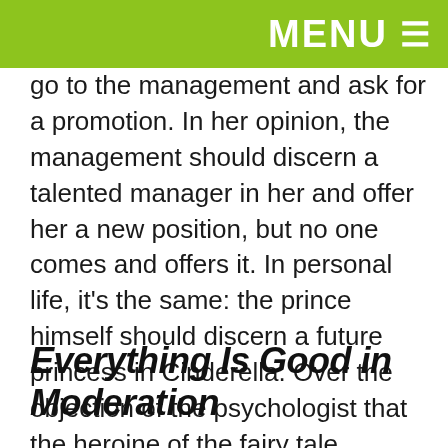MENU ☰
go to the management and ask for a promotion. In her opinion, the management should discern a talented manager in her and offer her a new position, but no one comes and offers it. In personal life, it's the same: the prince himself should discern a future princess in Cinderella. Over the objection of the psychologist that the heroine of the fairy tale actually looked the best at the ball, the client laughs. Explains that she, too, happens to be at various events, looking spectacular there, but she refuses men's attention.
Everything Is Good in Moderation